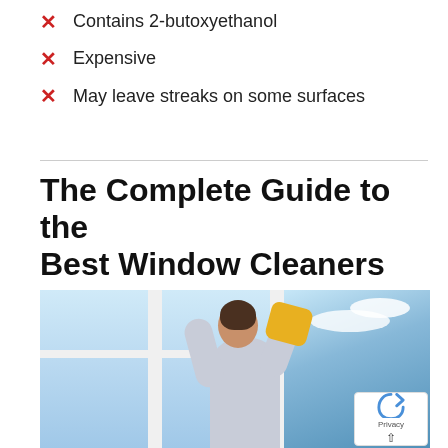Contains 2-butoxyethanol
Expensive
May leave streaks on some surfaces
The Complete Guide to the Best Window Cleaners
[Figure (photo): Woman cleaning windows with a yellow cloth, viewed from behind, with blue sky and clouds visible through the windows]